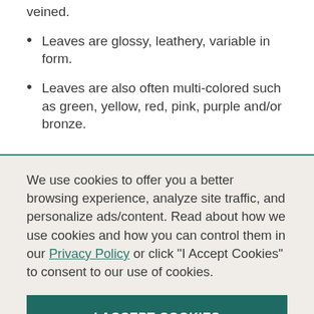veined.
Leaves are glossy, leathery, variable in form.
Leaves are also often multi-colored such as green, yellow, red, pink, purple and/or bronze.
We use cookies to offer you a better browsing experience, analyze site traffic, and personalize ads/content. Read about how we use cookies and how you can control them in our Privacy Policy or click "I Accept Cookies" to consent to our use of cookies.
I ACCEPT COOKIES
Continue Without Cookies